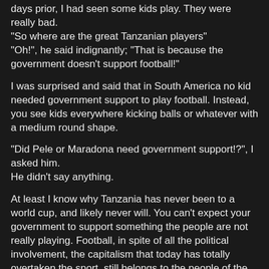days prior, I had seen some kids play. They were really bad. "So where are the great Tanzanian players" "Oh!", he said indignantly; "That is because the government doesn't support football!"
I was surprised and said that in South America no kid needed government support to play football. Instead, you see kids everywhere kicking balls or whatever with a medium round shape.
"Did Pele or Maradona need government support!?", I asked him.
He didn't say anything.
At least I know why Tanzania has never been to a world cup, and likely never will. You can't expect your government to support something the people are not really playing. Football, in spite of all the political involvement, the capitalism that today has totally overtaken the sport, still belongs to the people of the world, and any kid playing with whatever, may one day turn into a new Pele. No need for government support.